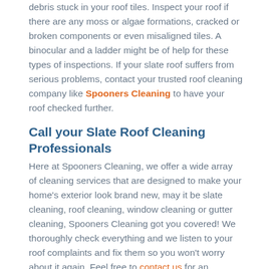debris stuck in your roof tiles. Inspect your roof if there are any moss or algae formations, cracked or broken components or even misaligned tiles. A binocular and a ladder might be of help for these types of inspections. If your slate roof suffers from serious problems, contact your trusted roof cleaning company like Spooners Cleaning to have your roof checked further.
Call your Slate Roof Cleaning Professionals
Here at Spooners Cleaning, we offer a wide array of cleaning services that are designed to make your home's exterior look brand new, may it be slate cleaning, roof cleaning, window cleaning or gutter cleaning, Spooners Cleaning got you covered! We thoroughly check everything and we listen to your roof complaints and fix them so you won't worry about it again. Feel free to contact us for an estimate or avail of our roof cleaning package.